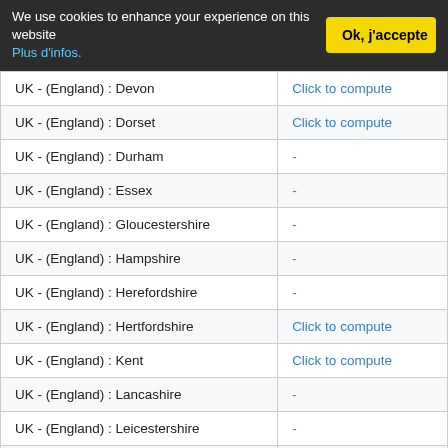We use cookies to enhance your experience on this website Plus d'infos. Ok, j'accepte
| Region | Action |
| --- | --- |
| UK - (England) : Devon | Click to compute |
| UK - (England) : Dorset | Click to compute |
| UK - (England) : Durham | - |
| UK - (England) : Essex | - |
| UK - (England) : Gloucestershire | - |
| UK - (England) : Hampshire | - |
| UK - (England) : Herefordshire | - |
| UK - (England) : Hertfordshire | Click to compute |
| UK - (England) : Kent | Click to compute |
| UK - (England) : Lancashire | - |
| UK - (England) : Leicestershire | - |
| UK - (England) : Lincolnshire | - |
| UK - (England) : Middlesex | Click to compute |